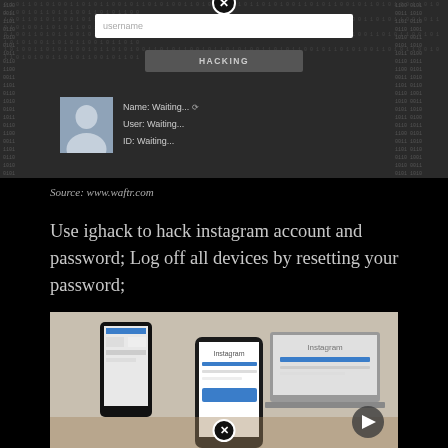[Figure (screenshot): Dark-themed Instagram hacking tool UI mockup showing a username input field, a HACKING button, a close (X) button, binary/code background, and a profile section with placeholder avatar and 'Name: Waiting...', 'User: Waiting...', 'ID: Waiting...' labels]
Source: www.waftr.com
Use ighack to hack instagram account and password; Log off all devices by resetting your password;
[Figure (photo): Photo of two smartphones and a laptop/tablet displaying the Instagram login page on a wooden surface, with a play button overlay and close X button at bottom]